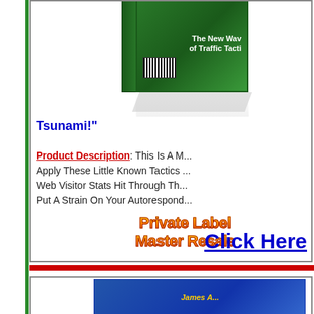[Figure (illustration): Product box / book cover for 'The New Wave of Traffic Tactics' shown with green cover, barcode, and reflection shadow]
Tsunami!"
Product Description: This Is A M... Apply These Little Known Tactics ... Web Visitor Stats Hit Through Th... Put A Strain On Your Autorespond...
[Figure (illustration): Private Label Master Resale Rights banner in yellow-orange gradient text]
Click Here
[Figure (illustration): Bottom product box with blue book cover and italic yellow text (partially visible)]